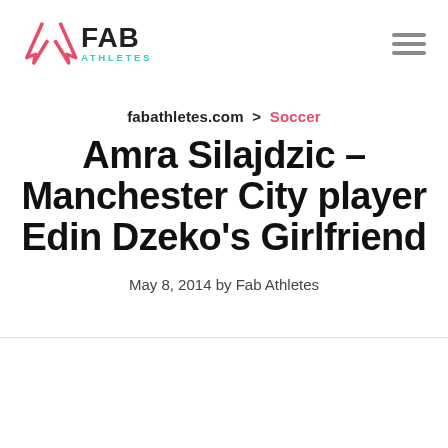FAB ATHLETES logo and navigation
fabathletes.com  >  Soccer
Amra Silajdzic – Manchester City player Edin Dzeko's Girlfriend
May 8, 2014 by Fab Athletes